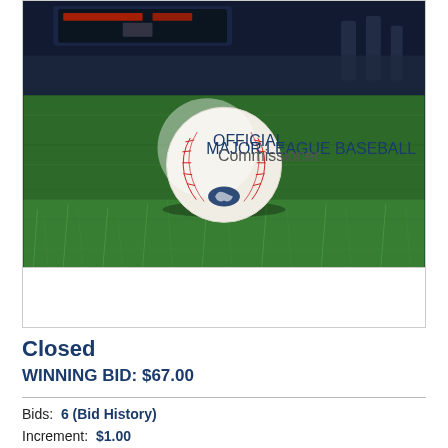[Figure (photo): A Major League Baseball resting on green grass of a baseball field at night, with a stadium visible in the background. The ball shows red stitching and the MLB logo.]
Closed
WINNING BID: $67.00
Bids: 6 (Bid History)
Increment: $1.00